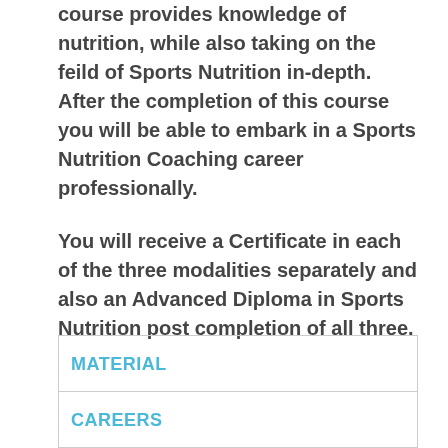course provides knowledge of nutrition, while also taking on the feild of Sports Nutrition in-depth. After the completion of this course you will be able to embark in a Sports Nutrition Coaching career professionally.
You will receive a Certificate in each of the three modalities separately and also an Advanced Diploma in Sports Nutrition post completion of all three.
| MATERIAL | CAREERS |
| --- | --- |